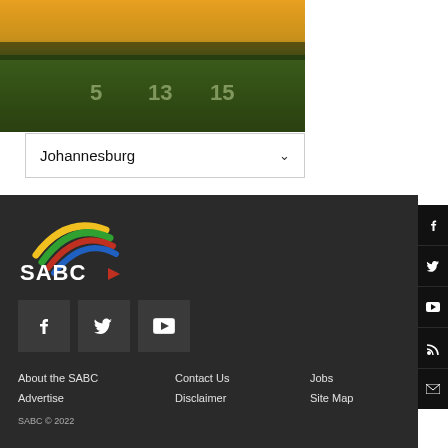[Figure (photo): Landscape photo of a green field with trees and golden sunset sky, with numbers 5, 13, 15 visible on the field]
Johannesburg
[Figure (logo): SABC logo with colorful arc (yellow, green, red, blue) above SABC text with red play button icon]
[Figure (infographic): Three social media icon boxes: Facebook (f), Twitter (bird), YouTube (play button)]
About the SABC
Contact Us
Jobs
Advertise
Disclaimer
Site Map
SABC © 2022